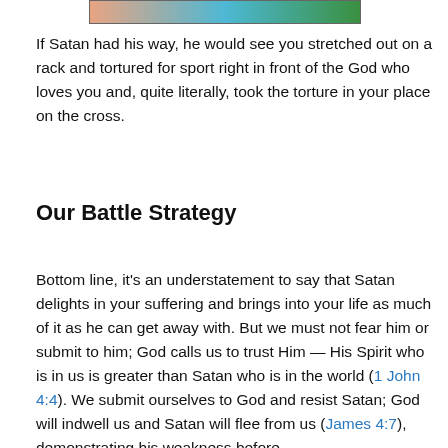[Figure (photo): Partial photo strip showing people, cropped at top of page]
If Satan had his way, he would see you stretched out on a rack and tortured for sport right in front of the God who loves you and, quite literally, took the torture in your place on the cross.
Our Battle Strategy
Bottom line, it’s an understatement to say that Satan delights in your suffering and brings into your life as much of it as he can get away with. But we must not fear him or submit to him; God calls us to trust Him — His Spirit who is in us is greater than Satan who is in the world (1 John 4:4). We submit ourselves to God and resist Satan; God will indwell us and Satan will flee from us (James 4:7), demonstrating his weakness before